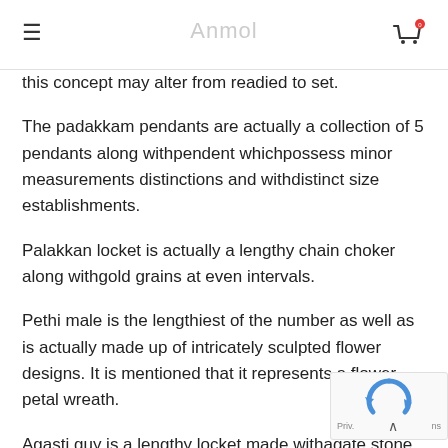≡  [site name]  🛒 0
this concept may alter from readied to set.
The padakkam pendants are actually a collection of 5 pendants along withpendent whichpossess minor measurements distinctions and withdistinct size establishments.
Palakkan locket is actually a lengthy chain choker along withgold grains at even intervals.
Pethi male is the lengthiest of the number as well as is actually made up of intricately sculpted flower designs. It is mentioned that it represents a flower petal wreath.
Agasti guy is a lengthy locket made withagate stone today brides go witha variety called gedi male whichis